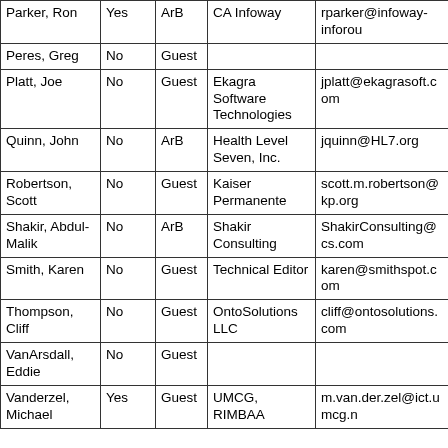| Name | Voting | Role | Organization | Email |
| --- | --- | --- | --- | --- |
| Parker, Ron | Yes | ArB | CA Infoway | rparker@infoway-inforou... |
| Peres, Greg | No | Guest |  |  |
| Platt, Joe | No | Guest | Ekagra Software Technologies | jplatt@ekagrasoft.com |
| Quinn, John | No | ArB | Health Level Seven, Inc. | jquinn@HL7.org |
| Robertson, Scott | No | Guest | Kaiser Permanente | scott.m.robertson@kp.org |
| Shakir, Abdul-Malik | No | ArB | Shakir Consulting | ShakirConsulting@cs.com... |
| Smith, Karen | No | Guest | Technical Editor | karen@smithspot.com |
| Thompson, Cliff | No | Guest | OntoSolutions LLC | cliff@ontosolutions.com |
| VanArsdall, Eddie | No | Guest |  |  |
| Vanderzel, Michael | Yes | Guest | UMCG, RIMBAA | m.van.der.zel@ict.umcg.n... |